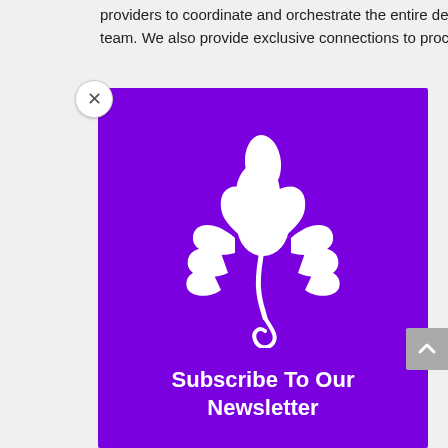providers to coordinate and orchestrate the entire design team. We also provide exclusive connections to procure
[Figure (logo): White decorative leaf/plant logo on purple background]
Subscribe To Our Newsletter